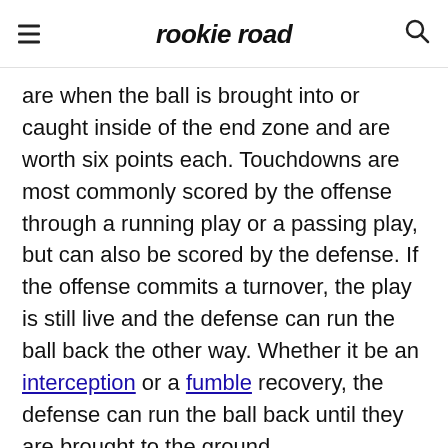rookie road
are when the ball is brought into or caught inside of the end zone and are worth six points each. Touchdowns are most commonly scored by the offense through a running play or a passing play, but can also be scored by the defense. If the offense commits a turnover, the play is still live and the defense can run the ball back the other way. Whether it be an interception or a fumble recovery, the defense can run the ball back until they are brought to the ground.
After every touchdown, teams have a